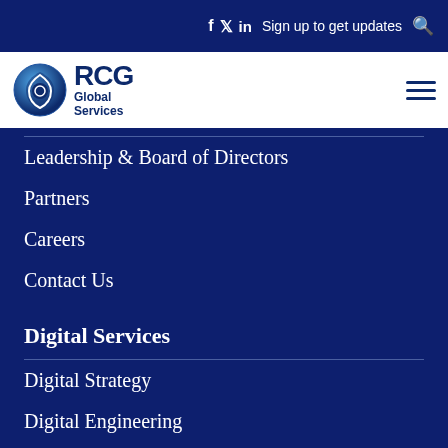f  y  in  Sign up to get updates  🔍
[Figure (logo): RCG Global Services logo with circular blue shield icon and text 'RCG Global Services']
Leadership & Board of Directors
Partners
Careers
Contact Us
Digital Services
Digital Strategy
Digital Engineering
Digital Sustainment
Agile & DevOps
Intelligent Innovation